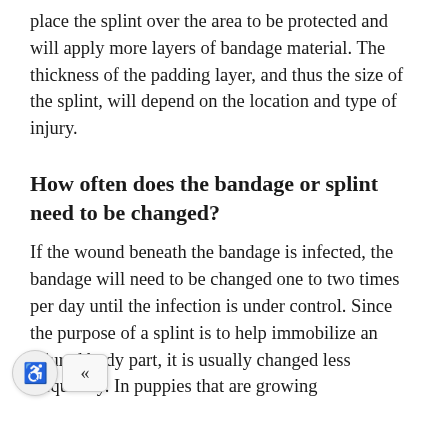place the splint over the area to be protected and will apply more layers of bandage material. The thickness of the padding layer, and thus the size of the splint, will depend on the location and type of injury.
How often does the bandage or splint need to be changed?
If the wound beneath the bandage is infected, the bandage will need to be changed one to two times per day until the infection is under control. Since the purpose of a splint is to help immobilize an injured body part, it is usually changed less frequently. In puppies that are growing